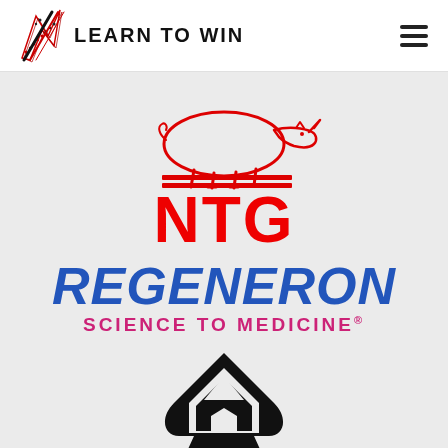[Figure (logo): Learn To Win logo with stylized bird/lightning bolt graphic and text 'LEARN TO WIN' in bold uppercase, plus hamburger menu icon on right]
[Figure (logo): NTG logo: red outline of a rhinoceros above two horizontal red bars, with large bold red text 'NTG' below]
[Figure (logo): Regeneron logo: large bold italic blue text 'REGENERON' with pink bold text 'SCIENCE TO MEDICINE®' below]
[Figure (logo): Black stylized logo of a tent/house shape with letter A, in the style of an ace of spades card, partially cut off at bottom]